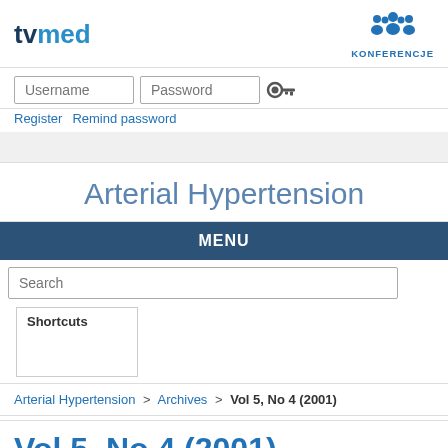tvmed | KONFERENCJE
Username | Password
Register  Remind password
Arterial Hypertension
MENU
Search
Shortcuts
Arterial Hypertension > Archives > Vol 5, No 4 (2001)
Vol 5, No 4 (2001)